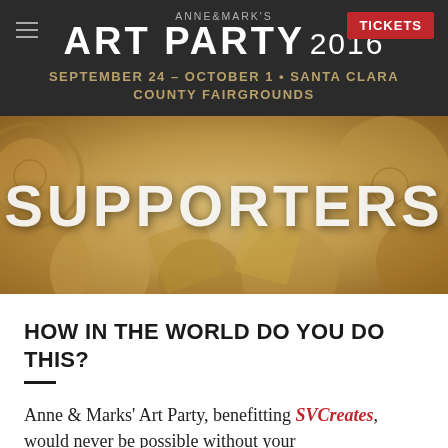ANNE & MARK'S ART PARTY 2016 | TICKETS | SEPTEMBER 24 – OCTOBER 1 • SANTA CLARA COUNTY FAIRGROUNDS
[Figure (photo): Decorative art ceramic tiles/circles background image with 'SUPPORTERS' text overlay]
HOW IN THE WORLD DO YOU DO THIS?
Anne & Marks' Art Party, benefitting SVCreates, would never be possible without your